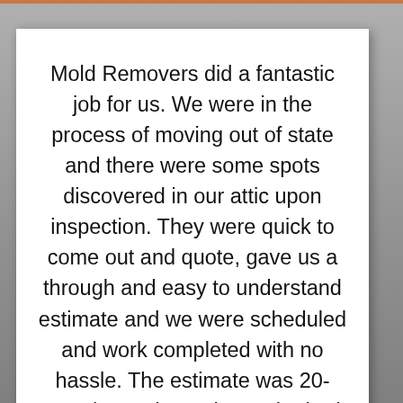Mold Removers did a fantastic job for us. We were in the process of moving out of state and there were some spots discovered in our attic upon inspection. They were quick to come out and quote, gave us a through and easy to understand estimate and we were scheduled and work completed with no hassle. The estimate was 20-30% lower than others who had quoted us. Overall the only great thing